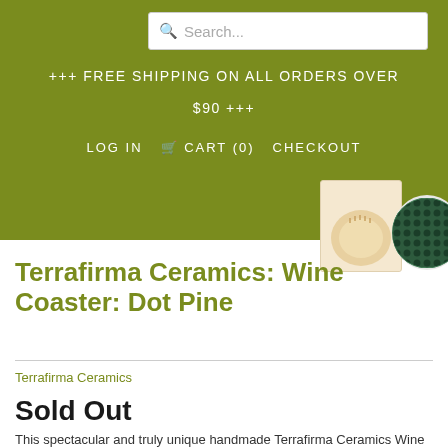+++ FREE SHIPPING ON ALL ORDERS OVER $90 +++ LOG IN  CART (0)  CHECKOUT
[Figure (photo): Two ceramic wine coasters — one beige/tan and one dark green with dot pattern]
Terrafirma Ceramics: Wine Coaster: Dot Pine
Terrafirma Ceramics
Sold Out
This spectacular and truly unique handmade Terrafirma Ceramics Wine Coaster, in the Dot pattern and Pine color, is alive with color and